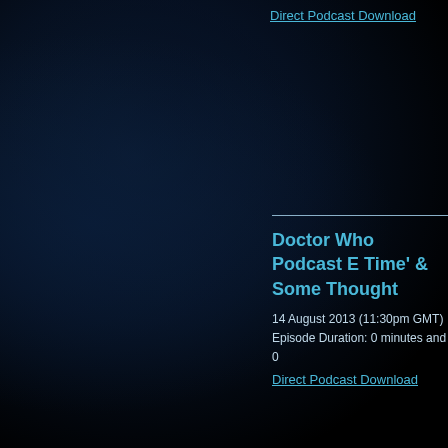Direct Podcast Download
Doctor Who Podcast E Time' & Some Though
14 August 2013 (11:30pm GMT)
Episode Duration: 0 minutes and 0
Direct Podcast Download